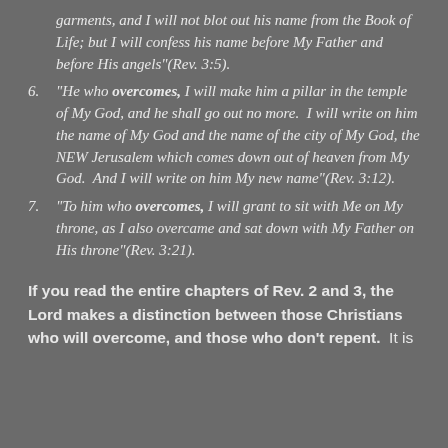garments, and I will not blot out his name from the Book of Life; but I will confess his name before My Father and before His angels"(Rev. 3:5).
6. "He who overcomes, I will make him a pillar in the temple of My God, and he shall go out no more. I will write on him the name of My God and the name of the city of My God, the NEW Jerusalem which comes down out of heaven from My God. And I will write on him My new name"(Rev. 3:12).
7. "To him who overcomes, I will grant to sit with Me on My throne, as I also overcame and sat down with My Father on His throne"(Rev. 3:21).
If you read the entire chapters of Rev. 2 and 3, the Lord makes a distinction between those Christians who will overcome, and those who don't repent. It is